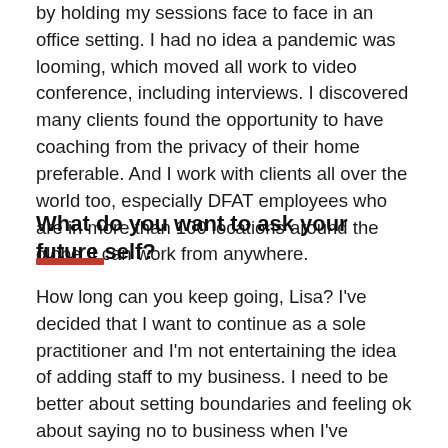by holding my sessions face to face in an office setting. I had no idea a pandemic was looming, which moved all work to video conference, including interviews. I discovered many clients found the opportunity to have coaching from the privacy of their home preferable. And I work with clients all over the world too, especially DFAT employees who are in more than 100 locations around the globe. I can work from anywhere.
What do you want to ask your future self?
How long can you keep going, Lisa? I've decided that I want to continue as a sole practitioner and I'm not entertaining the idea of adding staff to my business. I need to be better about setting boundaries and feeling ok about saying no to business when I've reached capacity. As I start to approach retirement age I want to figure out how to balance still